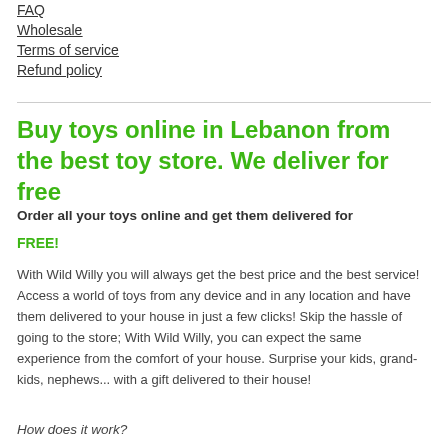FAQ
Wholesale
Terms of service
Refund policy
Buy toys online in Lebanon from the best toy store. We deliver for free
Order all your toys online and get them delivered for FREE!
With Wild Willy you will always get the best price and the best service! Access a world of toys from any device and in any location and have them delivered to your house in just a few clicks! Skip the hassle of going to the store; With Wild Willy, you can expect the same experience from the comfort of your house. Surprise your kids, grand-kids, nephews... with a gift delivered to their house!
How does it work?